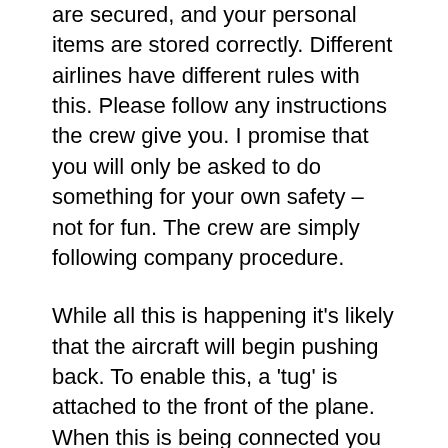are secured, and your personal items are stored correctly. Different airlines have different rules with this. Please follow any instructions the crew give you. I promise that you will only be asked to do something for your own safety – not for fun. The crew are simply following company procedure.
While all this is happening it's likely that the aircraft will begin pushing back. To enable this, a 'tug' is attached to the front of the plane. When this is being connected you may hear a 'clunking' noise as metal hits metal. This is nothing to worry about.
If you look out of the window at this point you may be able to see a member of ground staff walking